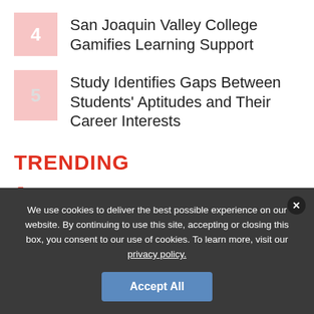4  San Joaquin Valley College Gamifies Learning Support
5  Study Identifies Gaps Between Students' Aptitudes and Their Career Interests
TRENDING
1  COVID-19
We use cookies to deliver the best possible experience on our website. By continuing to use this site, accepting or closing this box, you consent to our use of cookies. To learn more, visit our privacy policy.